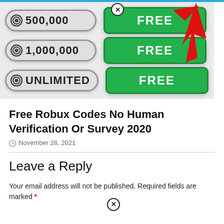[Figure (illustration): Promotional banner showing Robux amounts (500,000, 1,000,000, UNLIMITED) each with a green FREE button, a red arrow pointing to the top FREE button, and a close (X) circle icon.]
Free Robux Codes No Human Verification Or Survey 2020
November 28, 2021
Leave a Reply
Your email address will not be published. Required fields are marked *